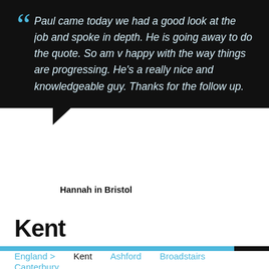Paul came today we had a good look at the job and spoke in depth. He is going away to do the quote. So am v happy with the way things are progressing. He's a really nice and knowledgeable guy. Thanks for the follow up.
Hannah in Bristol
Kent
England >
Kent
Ashford
Broadstairs
Canterbury
Chatham
Deal
Dover
Faversham
Folkestone
Gillingham
Gravesend
Herne Bay
Hythe
Lydd
Maidstone
Margate
New Romney
Northfleet